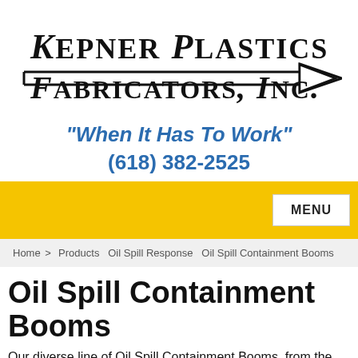[Figure (logo): Kepner Plastics Fabricators, Inc. logo with italic serif text and arrow graphic]
"When It Has To Work"
(618) 382-2525
MENU
Home > Products Oil Spill Response Oil Spill Containment Booms
Oil Spill Containment Booms
Our diverse line of Oil Spill Containment Booms, from the